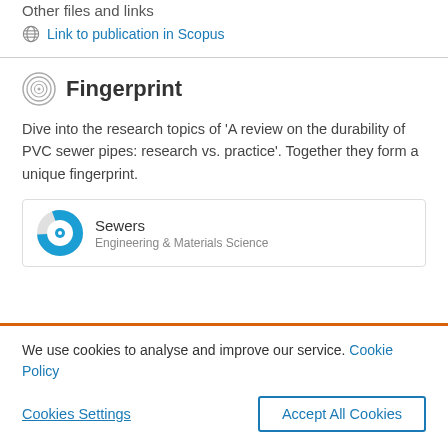Other files and links
Link to publication in Scopus
Fingerprint
Dive into the research topics of 'A review on the durability of PVC sewer pipes: research vs. practice'. Together they form a unique fingerprint.
Sewers
Engineering & Materials Science
We use cookies to analyse and improve our service. Cookie Policy
Cookies Settings
Accept All Cookies